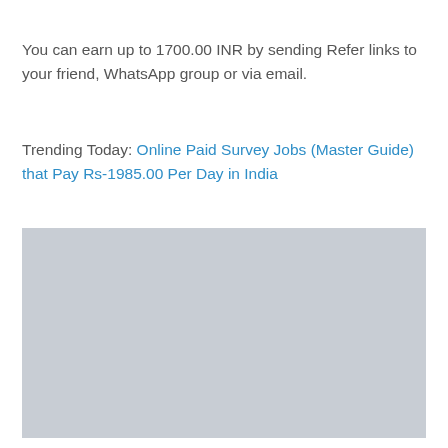You can earn up to 1700.00 INR by sending Refer links to your friend, WhatsApp group or via email.
Trending Today: Online Paid Survey Jobs (Master Guide) that Pay Rs-1985.00 Per Day in India
[Figure (other): Gray placeholder rectangle representing an advertisement or image block]